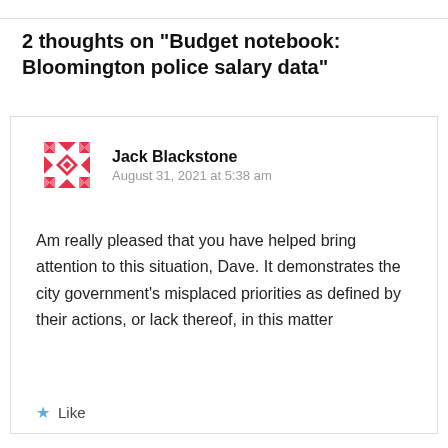2 thoughts on “Budget notebook: Bloomington police salary data”
[Figure (logo): Red geometric snowflake/quilt pattern avatar for user Jack Blackstone]
Jack Blackstone
August 31, 2021 at 5:38 am
Am really pleased that you have helped bring attention to this situation, Dave. It demonstrates the city government’s misplaced priorities as defined by their actions, or lack thereof, in this matter
★ Like